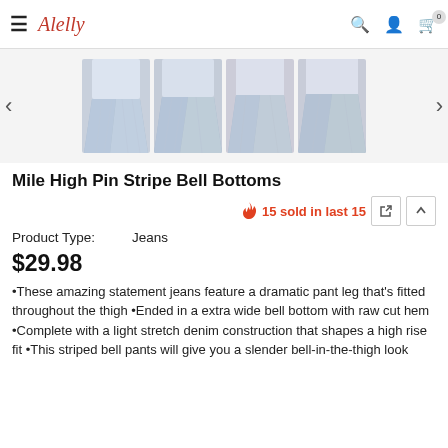≡ Alelly  🔍  👤  🛒 0
[Figure (photo): Four thumbnail images of Mile High Pin Stripe Bell Bottoms jeans from different angles, showing flared bell bottom denim jeans in light blue wash]
Mile High Pin Stripe Bell Bottoms
15 sold in last 15
Product Type:    Jeans
$29.98
•These amazing statement jeans feature a dramatic pant leg that's fitted throughout the thigh •Ended in a extra wide bell bottom with raw cut hem •Complete with a light stretch denim construction that shapes a high rise fit •This striped bell pants will give you a slender bell-in-the-thigh look